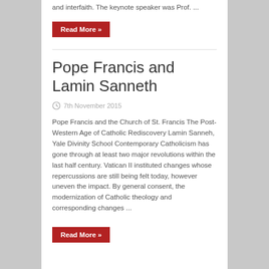and interfaith. The keynote speaker was Prof. ...
Read More »
Pope Francis and Lamin Sanneth
7th November 2015
Pope Francis and the Church of St. Francis The Post-Western Age of Catholic Rediscovery Lamin Sanneh, Yale Divinity School Contemporary Catholicism has gone through at least two major revolutions within the last half century. Vatican II instituted changes whose repercussions are still being felt today, however uneven the impact. By general consent, the modernization of Catholic theology and corresponding changes ...
Read More »